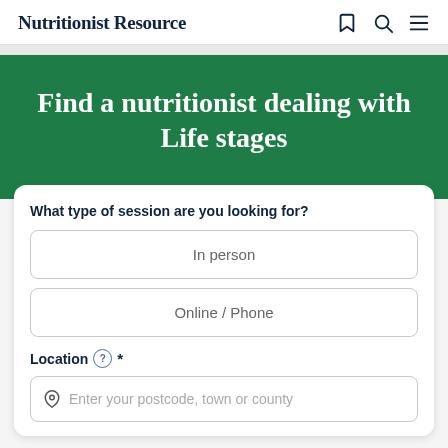Nutritionist Resource
Find a nutritionist dealing with Life stages
What type of session are you looking for?
In person
Online / Phone
Location *
Enter your postcode, town or county